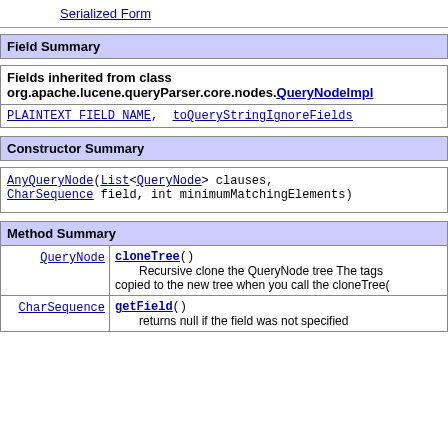Serialized Form
Field Summary
| Fields inherited from class org.apache.lucene.queryParser.core.nodes.QueryNodeImpl |
| --- |
| PLAINTEXT_FIELD_NAME, toQueryStringIgnoreFields |
Constructor Summary
| AnyQueryNode(List<QueryNode> clauses, CharSequence field, int minimumMatchingElements) |
Method Summary
|  |  |
| --- | --- |
| QueryNode | cloneTree()
    Recursive clone the QueryNode tree The tags copied to the new tree when you call the cloneTree( |
| CharSequence | getField()
    returns null if the field was not specified |